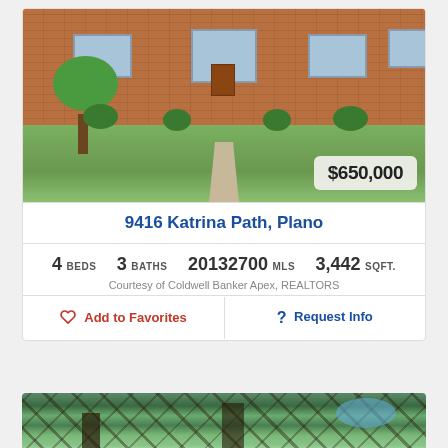[Figure (photo): Exterior photo of a two-story brick house with green lawn at 9416 Katrina Path, Plano. Price tag overlay showing $650,000.]
9416 Katrina Path, Plano
4 BEDS   3 BATHS   20132700 MLS   3,442 SQFT.
Courtesy of Coldwell Banker Apex, REALTORS
Add to Favorites
Request Info
[Figure (photo): Upward view through large oak tree branches with blue sky visible between the foliage.]